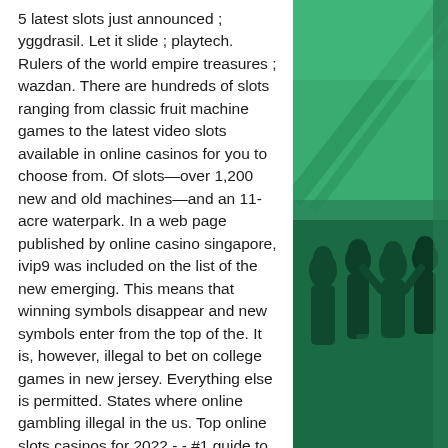5 latest slots just announced ; yggdrasil. Let it slide ; playtech. Rulers of the world empire treasures ; wazdan. There are hundreds of slots ranging from classic fruit machine games to the latest video slots available in online casinos for you to choose from. Of slots—over 1,200 new and old machines—and an 11-acre waterpark. In a web page published by online casino singapore, ivip9 was included on the list of the new emerging. This means that winning symbols disappear and new symbols enter from the top of the. It is, however, illegal to bet on college games in new jersey. Everything else is permitted. States where online gambling illegal in the us. Top online slots casinos for 2022 - - #1 guide to playing real money slots online. Discover the best slot machine games, types, jackpots, free games. But unlike the old days where slot machines were just mechanical slot wheels spinning on their
[Figure (illustration): Green-toned illustration with silhouettes of people/crowd in dark green against a lighter green background, with diagonal lines and geometric shapes. Appears to be a sports or gaming themed graphic with partial watermark letters visible.]